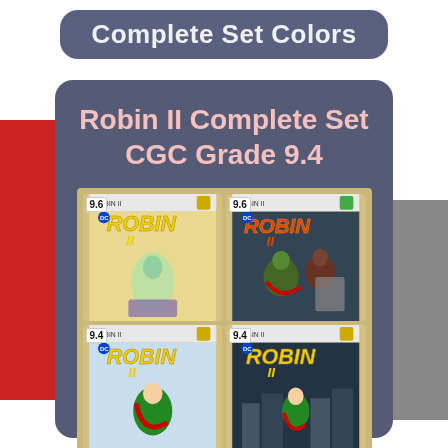Complete Set Colors
Robin II Complete Set CGC Grade 9.4
[Figure (photo): Four CGC-graded Robin II comic books arranged in a 2x2 grid on a burlap/textured background. Top two comics show grade 9.6, bottom two show grade 9.4. Comics feature various cover variants of Robin II.]